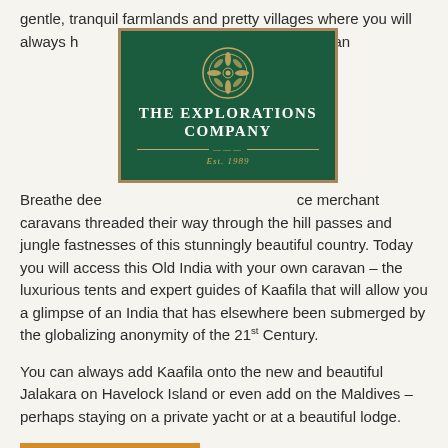gentle, tranquil farmlands and pretty villages where you will always have a chance to watch or just relax and soak it all in.
[Figure (logo): The Explorations Company logo — dark green rectangular badge with decorative snowflake/mandala emblem at top, white text reading THE EXPLORATIONS COMPANY, gold divider lines, and Est. 1989 in gold italic.]
Breathe deeply in a place where once spice merchant caravans threaded their way through the hill passes and jungle fastnesses of this stunningly beautiful country. Today you will access this Old India with your own caravan – the luxurious tents and expert guides of Kaafila that will allow you a glimpse of an India that has elsewhere been submerged by the globalizing anonymity of the 21st Century.
You can always add Kaafila onto the new and beautiful Jalakara on Havelock Island or even add on the Maldives – perhaps staying on a private yacht or at a beautiful lodge.
Client Testimonials